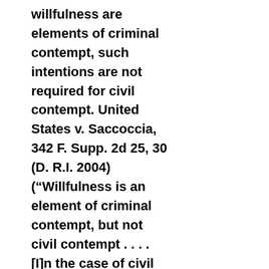willfulness are elements of criminal contempt, such intentions are not required for civil contempt. United States v. Saccoccia, 342 F. Supp. 2d 25, 30 (D. R.I. 2004) (“Willfulness is an element of criminal contempt, but not civil contempt . . . . [I]n the case of civil contempt, specific intent to violate the order is not required.”)(citations